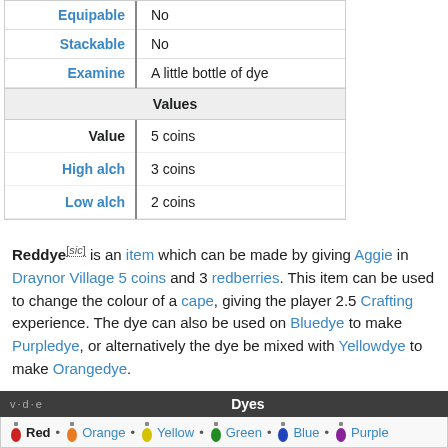| Equipable | No |
| Stackable | No |
| Examine | A little bottle of dye |
| Values |  |
| Value | 5 coins |
| High alch | 3 coins |
| Low alch | 2 coins |
Reddye[sic] is an item which can be made by giving Aggie in Draynor Village 5 coins and 3 redberries. This item can be used to change the colour of a cape, giving the player 2.5 Crafting experience. The dye can also be used on Bluedye to make Purpledye, or alternatively the dye be mixed with Yellowdye to make Orangedye.
| v·d·e | Dyes |
| --- | --- |
| Red | Orange | Yellow | Green | Blue | Purple |